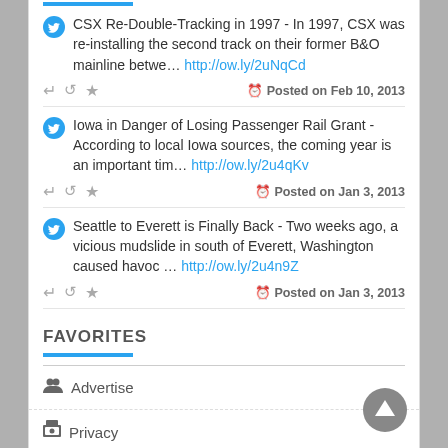CSX Re-Double-Tracking in 1997 - In 1997, CSX was re-installing the second track on their former B&O mainline betwe... http://ow.ly/2uNqCd
Posted on Feb 10, 2013
Iowa in Danger of Losing Passenger Rail Grant - According to local Iowa sources, the coming year is an important tim... http://ow.ly/2u4qKv
Posted on Jan 3, 2013
Seattle to Everett is Finally Back - Two weeks ago, a vicious mudslide in south of Everett, Washington caused havoc ... http://ow.ly/2u4n9Z
Posted on Jan 3, 2013
FAVORITES
Advertise
Privacy